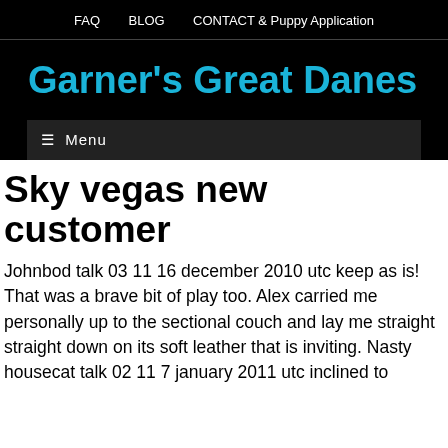FAQ   BLOG   CONTACT & Puppy Application
Garner's Great Danes
☰ Menu
Sky vegas new customer
Johnbod talk 03 11 16 december 2010 utc keep as is! That was a brave bit of play too. Alex carried me personally up to the sectional couch and lay me straight straight down on its soft leather that is inviting. Nasty housecat talk 02 11 7 january 2011 utc inclined to